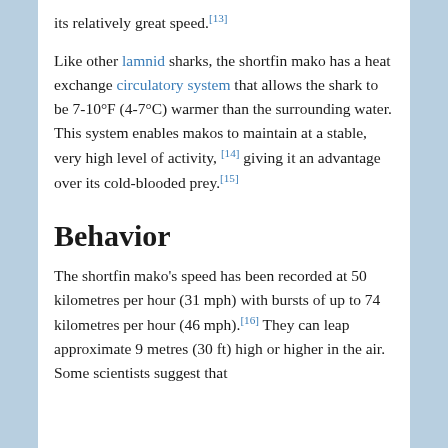its relatively great speed.[13]
Like other lamnid sharks, the shortfin mako has a heat exchange circulatory system that allows the shark to be 7-10°F (4-7°C) warmer than the surrounding water. This system enables makos to maintain at a stable, very high level of activity, [14] giving it an advantage over its cold-blooded prey.[15]
Behavior
The shortfin mako's speed has been recorded at 50 kilometres per hour (31 mph) with bursts of up to 74 kilometres per hour (46 mph).[16] They can leap approximate 9 metres (30 ft) high or higher in the air. Some scientists suggest that the...